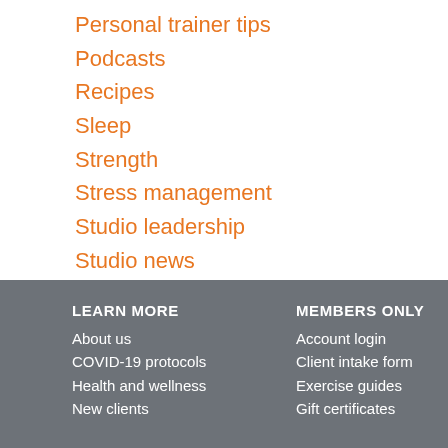Personal trainer tips
Podcasts
Recipes
Sleep
Strength
Stress management
Studio leadership
Studio news
LEARN MORE
About us
COVID-19 protocols
Health and wellness
New clients
MEMBERS ONLY
Account login
Client intake form
Exercise guides
Gift certificates